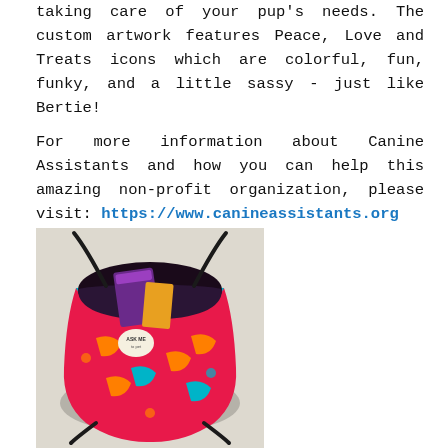taking care of your pup's needs. The custom artwork features Peace, Love and Treats icons which are colorful, fun, funky, and a little sassy - just like Bertie!
For more information about Canine Assistants and how you can help this amazing non-profit organization, please visit: https://www.canineassistants.org
[Figure (photo): A colorful drawstring bag with Peace, Love and Treats custom artwork in bright pink, teal, and orange, photographed from above showing contents inside including what appears to be dog treat packages.]